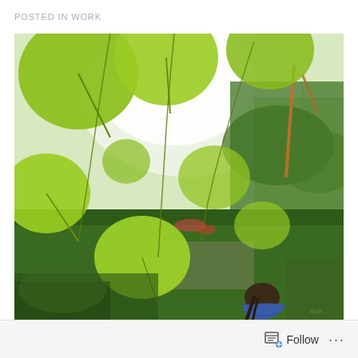POSTED IN WORK
[Figure (photo): Outdoor garden photograph taken from below large round green leaves hanging overhead, with a person bending over working in green lush garden below, natural light and vegetation in background including trees and bushes]
Follow ...